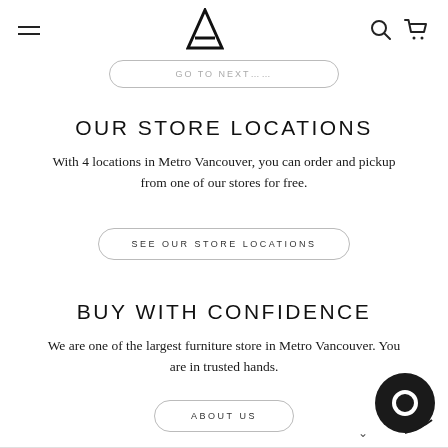Navigation bar with hamburger menu, logo, search and cart icons
GO TO NEXT…
OUR STORE LOCATIONS
With 4 locations in Metro Vancouver, you can order and pickup from one of our stores for free.
SEE OUR STORE LOCATIONS
BUY WITH CONFIDENCE
We are one of the largest furniture store in Metro Vancouver. You are in trusted hands.
ABOUT US